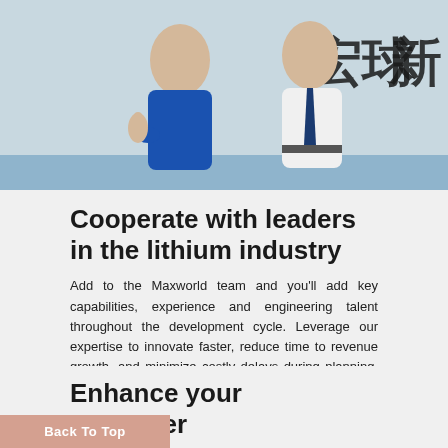[Figure (photo): Two people standing in front of a wall with Chinese characters. One person in a blue polo shirt giving a thumbs up, the other in a white shirt with a tie.]
Cooperate with leaders in the lithium industry
Add to the Maxworld team and you'll add key capabilities, experience and engineering talent throughout the development cycle. Leverage our expertise to innovate faster, reduce time to revenue growth, and minimize costly delays during planning, design, prototyping, proof of concept, and testing.
Enhance your customer experience
Back To Top